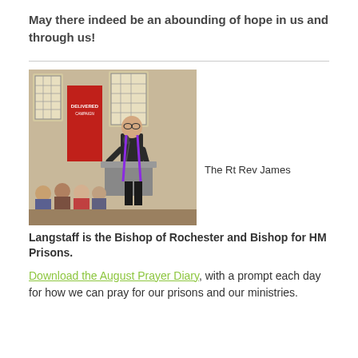May there indeed be an abounding of hope in us and through us!
[Figure (photo): The Rt Rev James Langstaff speaking at a podium in a church setting with a red 'DELIVERED' banner in the background and an audience seated behind him.]
The Rt Rev James Langstaff is the Bishop of Rochester and Bishop for HM Prisons.
Download the August Prayer Diary, with a prompt each day for how we can pray for our prisons and our ministries.